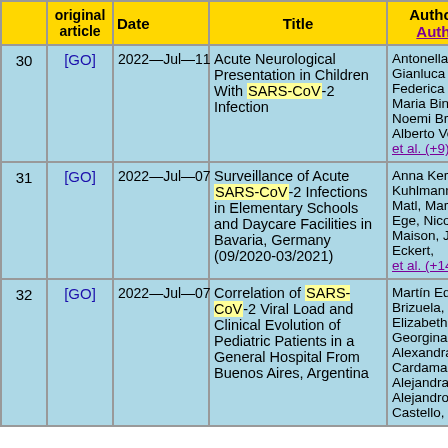|  | original article | Date | Title | Authors / Authors |
| --- | --- | --- | --- | --- |
| 30 | [GO] | 2022—Jul—11 | Acute Neurological Presentation in Children With SARS-CoV-2 Infection | Antonella K, Gianluca Pi, Federica Ba, Maria Binel, Noemi Brola, Alberto Vern, et al. (+9) |
| 31 | [GO] | 2022—Jul—07 | Surveillance of Acute SARS-CoV-2 Infections in Elementary Schools and Daycare Facilities in Bavaria, Germany (09/2020-03/2021) | Anna Kern, Kuhlmann, S, Matl, Marku, Ege, Nicole, Maison, Jan, Eckert, et al. (+14) |
| 32 | [GO] | 2022—Jul—07 | Correlation of SARS-CoV-2 Viral Load and Clinical Evolution of Pediatric Patients in a General Hospital From Buenos Aires, Argentina | Martín Edua, Brizuela, Sa, Elizabeth Ge, Georgina, Alexandra, Cardama, M, Alejandra Z, Alejandro A, Castello, Le |